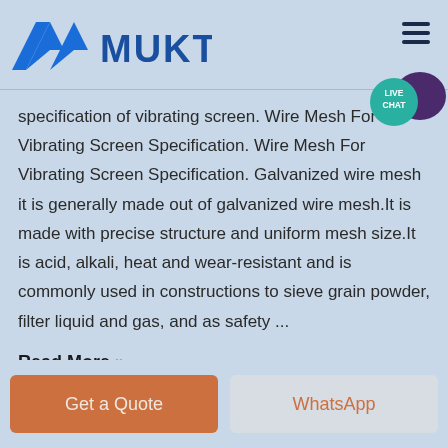MUKTI
specification of vibrating screen. Wire Mesh For Vibrating Screen Specification. Wire Mesh For Vibrating Screen Specification. Galvanized wire mesh it is generally made out of galvanized wire mesh.It is made with precise structure and uniform mesh size.It is acid, alkali, heat and wear-resistant and is commonly used in constructions to sieve grain powder, filter liquid and gas, and as safety ...
Read More »
Get a Quote
WhatsApp